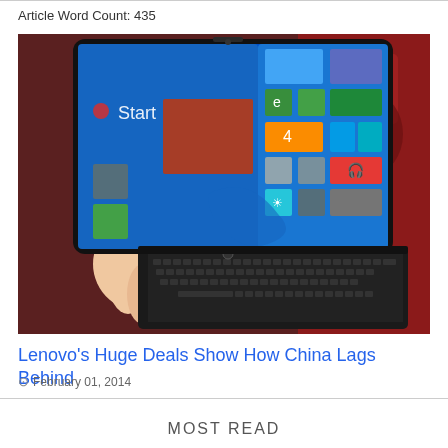Article Word Count: 435
[Figure (photo): A person holding a Lenovo convertible laptop/tablet showing Windows 8 Start screen with colorful tiles, keyboard visible below, on a red patterned surface]
Lenovo's Huge Deals Show How China Lags Behind
February 01, 2014
MOST READ